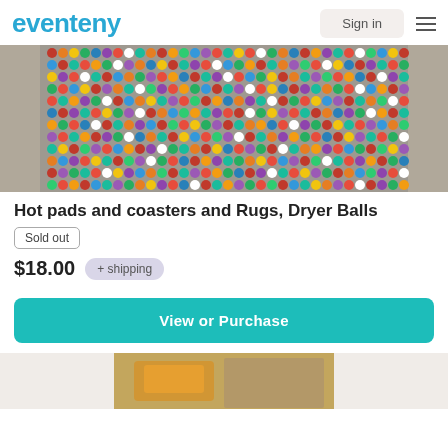eventeny  Sign in
[Figure (photo): A colorful felt ball rug made of many multicolored wool balls arranged in a grid pattern, photographed on a gray surface.]
Hot pads and coasters and Rugs, Dryer Balls
Sold out
$18.00  + shipping
View or Purchase
[Figure (photo): Partial view of another product image at the bottom of the page, showing orange/yellow fabric or item on a wooden surface.]